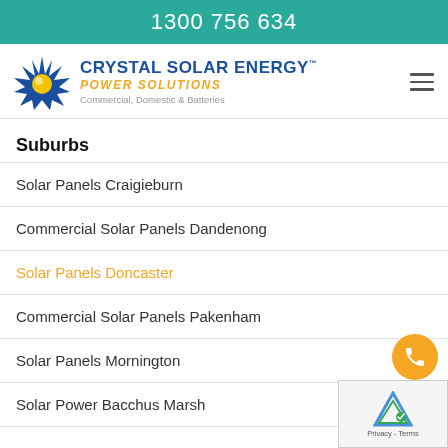1300 756 634
[Figure (logo): Crystal Solar Energy Power Solutions logo with star icon, blue brand name, orange italic 'POWER SOLUTIONS', and grey tagline 'Commercial, Domestic & Batteries']
Suburbs
Solar Panels Craigieburn
Commercial Solar Panels Dandenong
Solar Panels Doncaster
Commercial Solar Panels Pakenham
Solar Panels Mornington
Solar Power Bacchus Marsh